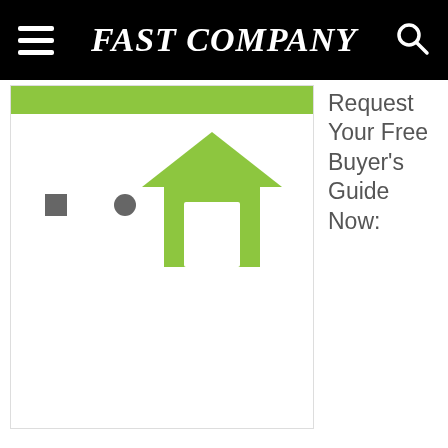FAST COMPANY
[Figure (logo): Partial logo with green house icon and gray dot and square elements, with a green top bar]
Request Your Free Buyer's Guide Now: